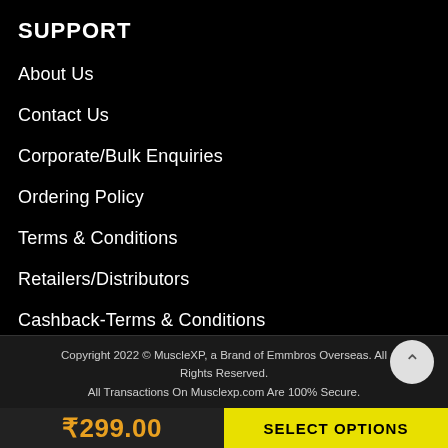SUPPORT
About Us
Contact Us
Corporate/Bulk Enquiries
Ordering Policy
Terms & Conditions
Retailers/Distributors
Cashback-Terms & Conditions
Copyright 2022 © MuscleXP, a Brand of Emmbros Overseas. All Rights Reserved.
All Transactions On Musclexp.com Are 100% Secure.
₹299.00
SELECT OPTIONS